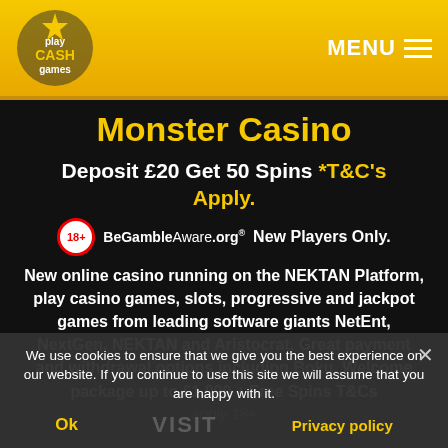Play Cash Games | MENU
Monster Casino
Deposit £20 Get 50 Spins *T&C's Apply.
18+ BeGambleAware.org  New Players Only.
New online casino running on the NEKTAN Platform, play casino games, slots, progressive and jackpot games from leading software giants NetEnt, NextGen, NEKTAN and Aristocrat. Great payment and withdrawal options including Boku. Welcome package up to £1,000 + Free Spins T&Cs apply 18+
We use cookies to ensure that we give you the best experience on our website. If you continue to use this site we will assume that you are happy with it.
Ok   Privacy policy